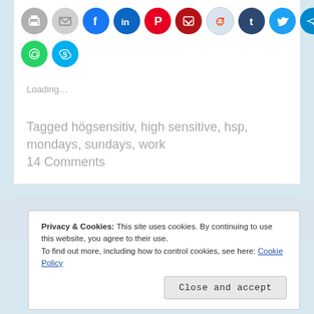[Figure (other): Row of social media share buttons: print, email, Facebook, LinkedIn, Pinterest, Pocket, Reddit, Tumblr, Twitter, Telegram icons as colored circles]
[Figure (other): Row of social media share buttons: WhatsApp, Skype icons as colored circles]
Loading…
Tagged högsensitiv, high sensitive, hsp, mondays, sundays, work
14 Comments
Privacy & Cookies: This site uses cookies. By continuing to use this website, you agree to their use.
To find out more, including how to control cookies, see here: Cookie Policy
Close and accept